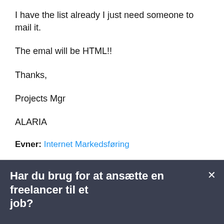I have the list already I just need someone to mail it.
The emal will be HTML!!
Thanks,
Projects Mgr
ALARIA
Evner: Internet Markedsføring
Har du brug for at ansætte en freelancer til et job?
Opret et projekt